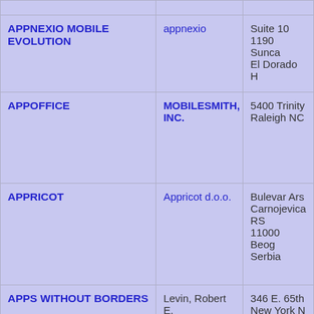| App/Mark Name | Owner | Address |
| --- | --- | --- |
|  |  |  |
| APPNEXIO MOBILE EVOLUTION | appnexio | Suite 10
1190 Sunca
El Dorado H |
| APPOFFICE | MOBILESMITH, INC. | 5400 Trinity
Raleigh NC |
| APPRICOT | Appricot d.o.o. | Bulevar Ars
Carnojevica
RS
11000 Beog
Serbia |
| APPS WITHOUT BORDERS | Levin, Robert E. | 346 E. 65th
New York N |